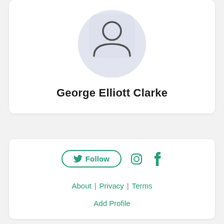[Figure (illustration): Default user avatar icon — a circular grey badge with a person silhouette (head and shoulders outline) on a light blue-grey round background]
George Elliott Clarke
[Figure (infographic): Social media row: Twitter Follow button (outlined pill button), Instagram icon, Facebook icon — all in teal/green color]
About | Privacy | Terms
Add Profile